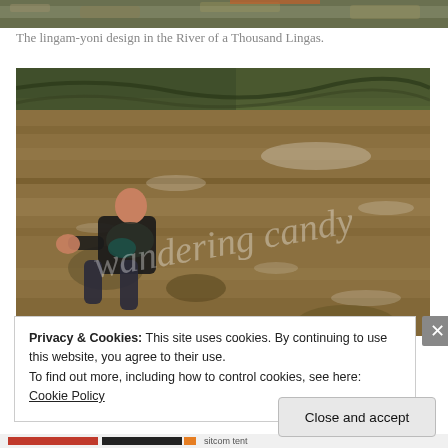[Figure (photo): Top cropped portion of a river with carved stone lingam-yoni design partially visible, brownish water and rocks.]
The lingam-yoni design in the River of a Thousand Lingas.
[Figure (photo): A person wearing a dark floral top and dark jeans sitting on rocks in a fast-flowing brown river, with 'wandering candy' watermark overlaid. Dense vegetation visible in background.]
Privacy & Cookies: This site uses cookies. By continuing to use this website, you agree to their use.
To find out more, including how to control cookies, see here: Cookie Policy
Close and accept